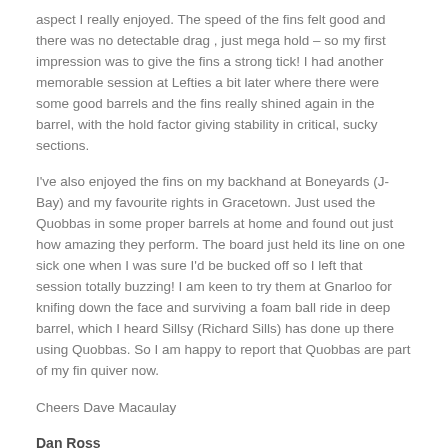aspect I really enjoyed. The speed of the fins felt good and there was no detectable drag , just mega hold – so my first impression was to give the fins a strong tick! I had another memorable session at Lefties a bit later where there were some good barrels and the fins really shined again in the barrel, with the hold factor giving stability in critical, sucky sections.
I've also enjoyed the fins on my backhand at Boneyards (J-Bay) and my favourite rights in Gracetown. Just used the Quobbas in some proper barrels at home and found out just how amazing they perform. The board just held its line on one sick one when I was sure I'd be bucked off so I left that session totally buzzing! I am keen to try them at Gnarloo for knifing down the face and surviving a foam ball ride in deep barrel, which I heard Sillsy (Richard Sills) has done up there using Quobbas. So I am happy to report that Quobbas are part of my fin quiver now.
Cheers Dave Macaulay
Dan Ross